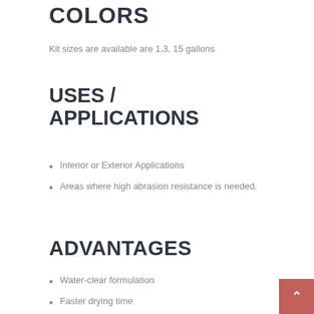COLORS
Kit sizes are available are 1,3, 15 gallons
USES / APPLICATIONS
Interior or Exterior Applications
Areas where high abrasion resistance is needed.
ADVANTAGES
Water-clear formulation
Faster drying time